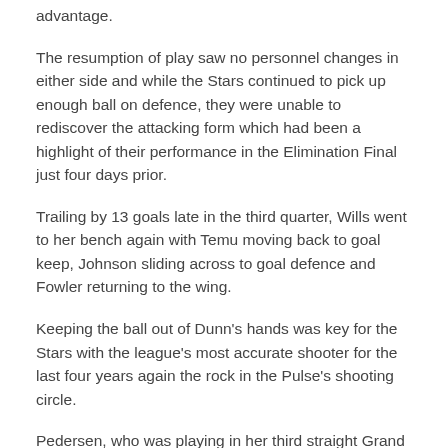advantage.
The resumption of play saw no personnel changes in either side and while the Stars continued to pick up enough ball on defence, they were unable to rediscover the attacking form which had been a highlight of their performance in the Elimination Final just four days prior.
Trailing by 13 goals late in the third quarter, Wills went to her bench again with Temu moving back to goal keep, Johnson sliding across to goal defence and Fowler returning to the wing.
Keeping the ball out of Dunn's hands was key for the Stars with the league's most accurate shooter for the last four years again the rock in the Pulse's shooting circle.
Pedersen, who was playing in her third straight Grand Final after turning out for the Tactix last season, left the